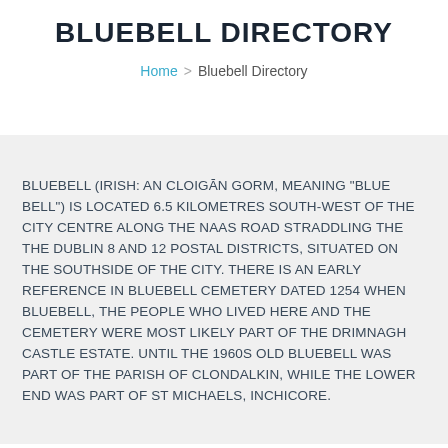BLUEBELL DIRECTORY
Home > Bluebell Directory
BLUEBELL (IRISH: AN CLOIGĀN GORM, MEANING "BLUE BELL") IS LOCATED 6.5 KILOMETRES SOUTH-WEST OF THE CITY CENTRE ALONG THE NAAS ROAD STRADDLING THE THE DUBLIN 8 AND 12 POSTAL DISTRICTS, SITUATED ON THE SOUTHSIDE OF THE CITY. THERE IS AN EARLY REFERENCE IN BLUEBELL CEMETERY DATED 1254 WHEN BLUEBELL, THE PEOPLE WHO LIVED HERE AND THE CEMETERY WERE MOST LIKELY PART OF THE DRIMNAGH CASTLE ESTATE. UNTIL THE 1960S OLD BLUEBELL WAS PART OF THE PARISH OF CLONDALKIN, WHILE THE LOWER END WAS PART OF ST MICHAELS, INCHICORE.